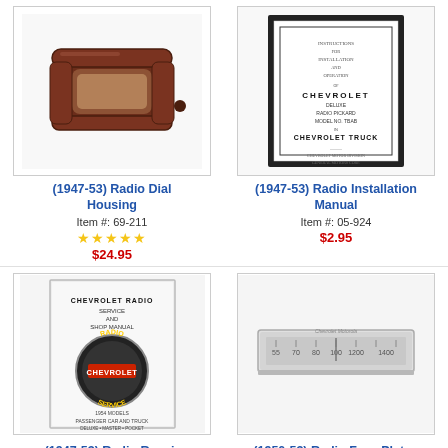[Figure (photo): Brown Bakelite radio dial housing for 1947-53 Chevrolet]
(1947-53) Radio Dial Housing
Item #: 69-211
★★★★★
$24.95
[Figure (photo): Framed Chevrolet radio installation manual cover page for 1947-53]
(1947-53) Radio Installation Manual
Item #: 05-924
$2.95
[Figure (photo): Chevrolet Radio Service and Shop Manual with Chevrolet Service emblem for 1947-53]
(1947-53) Radio Repair
[Figure (photo): Chrome radio face plate/dial for 1950-53 Chevrolet]
(1950-53) Radio Face Plate -